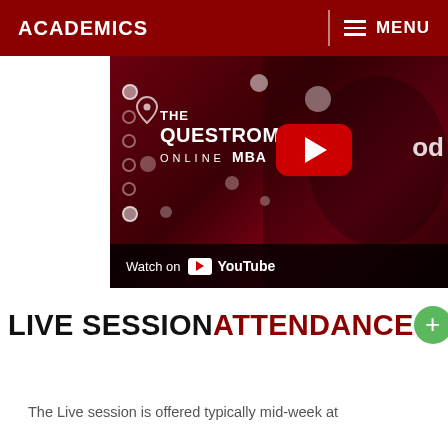ACADEMICS  MENU
[Figure (screenshot): YouTube video thumbnail for 'The Questrom Online MBA' with a camera background, a red YouTube play button, and a 'Watch on YouTube' bar at the bottom.]
LIVE SESSION ATTENDANCE
The Live session is offered typically mid-week at